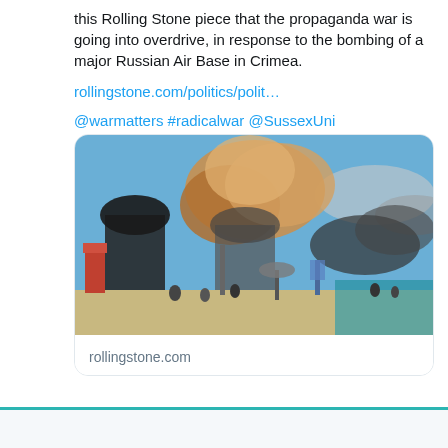this Rolling Stone piece that the propaganda war is going into overdrive, in response to the bombing of a major Russian Air Base in Crimea.
rollingstone.com/politics/polit…
@warmatters #radicalwar @SussexUni
[Figure (photo): A large smoke cloud rising from a beach scene, with dark smoke and orange-brown billowing clouds against a blue sky. Beach umbrellas and people visible in the foreground, blue sea water to the right.]
rollingstone.com